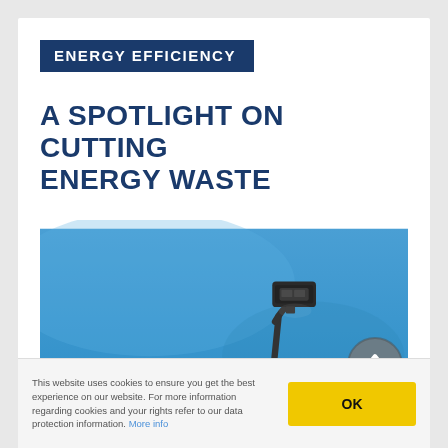ENERGY EFFICIENCY
A SPOTLIGHT ON CUTTING ENERGY WASTE
[Figure (photo): LED street lamp against a clear blue sky, viewed from below at an angle. The lamp head is a modern rectangular LED fixture mounted on a dark metal pole.]
This website uses cookies to ensure you get the best experience on our website. For more information regarding cookies and your rights refer to our data protection information. More info